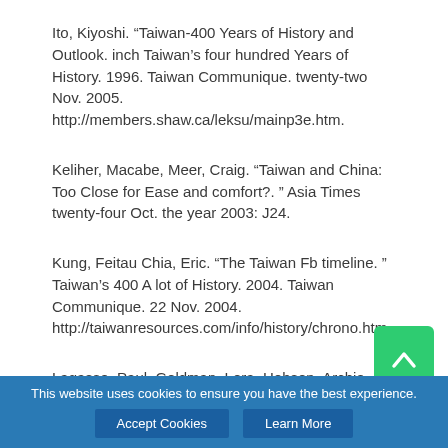Ito, Kiyoshi. “Taiwan-400 Years of History and Outlook. inch Taiwan’s four hundred Years of History. 1996. Taiwan Communique. twenty-two Nov. 2005. http://members.shaw.ca/leksu/mainp3e.htm.
Keliher, Macabe, Meer, Craig. “Taiwan and China: Too Close for Ease and comfort?. ” Asia Times twenty-four Oct. the year 2003: J24.
Kung, Feitau Chia, Eric. “The Taiwan Fb timeline. ” Taiwan’s 400 A lot of History. 2004. Taiwan Communique. 22 Nov. 2004. http://taiwanresources.com/info/history/chrono.htm.
Lagasse, Paul, Goldman, Lora, Hobson, Archie, Susan. Columbia College or university. “Taiwan
This website uses cookies to ensure you have the best experience.